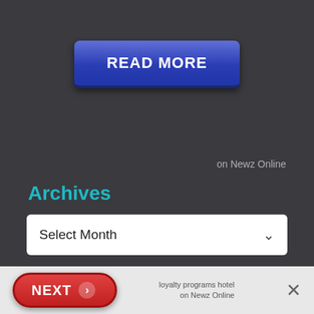[Figure (screenshot): Blue READ MORE button with white bold text, rounded rectangle with gradient blue background]
on Newz Online
Archives
[Figure (screenshot): Select Month dropdown widget, white rounded box with chevron icon]
Loyalty Traveler has been my travel writing business since April 2006. Loyalty Traveler blog is primarily about loyalty programs hotel
[Figure (photo): Portrait photo of a man wearing a dark cap and green jacket against a blue sky background]
[Figure (screenshot): NEXT button in red pill shape with arrow, and close X button, at bottom bar of page]
loyalty programs hotel
on Newz Online